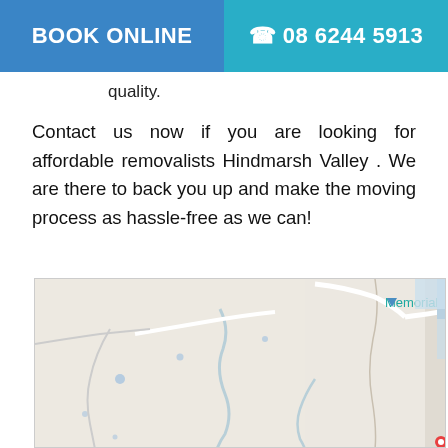BOOK ONLINE  |  08 6244 5913
quality.
Contact us now if you are looking for affordable removalists Hindmarsh Valley . We are there to back you up and make the moving process as hassle-free as we can!
[Figure (map): Google Maps screenshot showing a road map area with Victor Harbor Rd running vertically, Memorial Hall label visible near top, and a location pin at the bottom.]